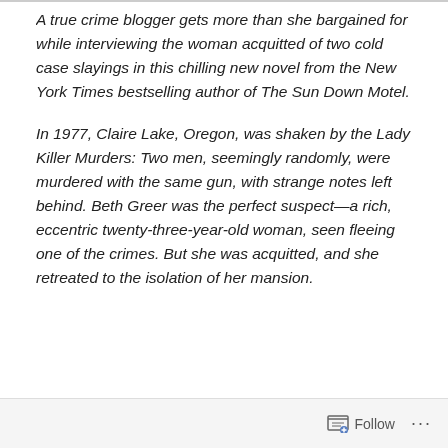A true crime blogger gets more than she bargained for while interviewing the woman acquitted of two cold case slayings in this chilling new novel from the New York Times bestselling author of The Sun Down Motel.
In 1977, Claire Lake, Oregon, was shaken by the Lady Killer Murders: Two men, seemingly randomly, were murdered with the same gun, with strange notes left behind. Beth Greer was the perfect suspect—a rich, eccentric twenty-three-year-old woman, seen fleeing one of the crimes. But she was acquitted, and she retreated to the isolation of her mansion.
Follow ···